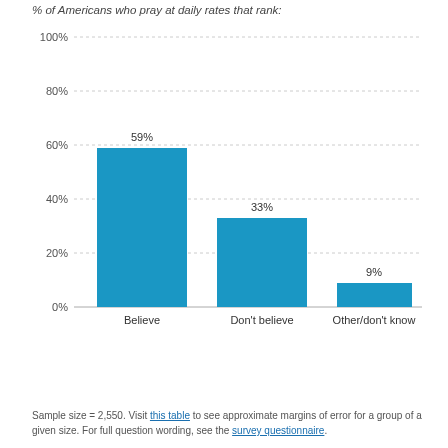% of Americans who pray at daily rates that rank:
[Figure (bar-chart): ]
Sample size = 2,550. Visit this table to see approximate margins of error for a group of a given size. For full question wording, see the survey questionnaire.